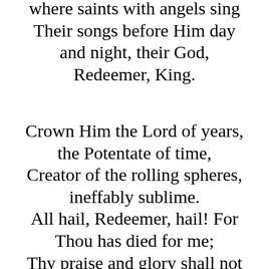where saints with angels sing Their songs before Him day and night, their God, Redeemer, King.
Crown Him the Lord of years, the Potentate of time, Creator of the rolling spheres, ineffably sublime. All hail, Redeemer, hail! For Thou has died for me; Thy praise and glory shall not